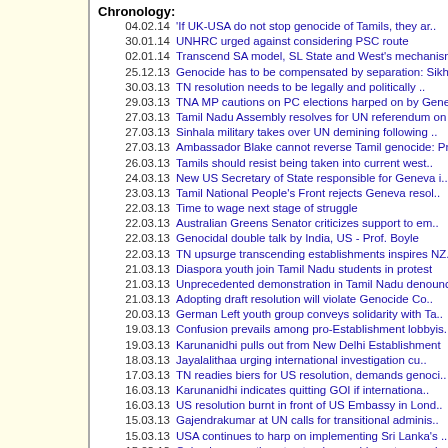Chronology:
04.02.14  'If UK-USA do not stop genocide of Tamils, they ar..
30.01.14  UNHRC urged against considering PSC route
02.01.14  Transcend SA model, SL State and West's mechanisms..
25.12.13  Genocide has to be compensated by separation: Sikh..
30.03.13  TN resolution needs to be legally and politically ..
29.03.13  TNA MP cautions on PC elections harped on by Geneva..
27.03.13  Tamil Nadu Assembly resolves for UN referendum on ..
27.03.13  Sinhala military takes over UN demining following ..
27.03.13  Ambassador Blake cannot reverse Tamil genocide: Pr..
26.03.13  Tamils should resist being taken into current west..
24.03.13  New US Secretary of State responsible for Geneva i..
23.03.13  Tamil National People's Front rejects Geneva resol..
22.03.13  Time to wage next stage of struggle
22.03.13  Australian Greens Senator criticizes support to em..
22.03.13  Genocidal double talk by India, US - Prof. Boyle
22.03.13  TN upsurge transcending establishments inspires NZ..
21.03.13  Diaspora youth join Tamil Nadu students in protest
21.03.13  Unprecedented demonstration in Tamil Nadu denounce..
21.03.13  Adopting draft resolution will violate Genocide Co..
20.03.13  German Left youth group conveys solidarity with Ta..
19.03.13  Confusion prevails among pro-Establishment lobbyis..
19.03.13  Karunanidhi pulls out from New Delhi Establishment
18.03.13  Jayalalithaa urging international investigation cu..
17.03.13  TN readies biers for US resolution, demands genoci..
16.03.13  Karunanidhi indicates quitting GOI if internationa..
16.03.13  US resolution burnt in front of US Embassy in Lond..
15.03.13  Gajendrakumar at UN calls for transitional adminis..
15.03.13  USA continues to harp on implementing Sri Lanka's ..
15.03.13  Colombo executing structural genocide, not reconci..
15.03.13  Tamil Nadu student upsurge gains momentum overcom..
14.03.13  Kurdish leadership accuses imperialist powers for ..
14.03.13  UNHRC, CHOGM, Regime Change: people's power ha..
14.03.13  Protest in Australia rejects LLRC-based US resolut..
13.03.13  Tamil Nadu students burn US draft resolution
11.03.13  Student protests across Tamil Nadu intensify again..
11.03.13  Fasting Loyola students arrested by police, protes..